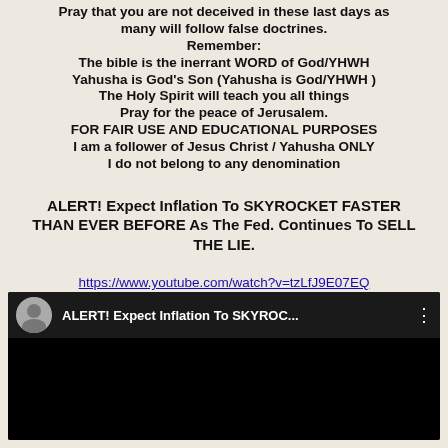Pray that you are not deceived in these last days as many will follow false doctrines.
Remember:
The bible is the inerrant WORD of God/YHWH
Yahusha is God's Son (Yahusha is God/YHWH )
The Holy Spirit will teach you all things
Pray for the peace of Jerusalem.
FOR FAIR USE AND EDUCATIONAL PURPOSES
I am a follower of Jesus Christ / Yahusha ONLY
I do not belong to any denomination
ALERT! Expect Inflation To SKYROCKET FASTER THAN EVER BEFORE As The Fed. Continues To SELL THE LIE.
https://www.youtube.com/watch?v=tzLfJ9E07EQ
[Figure (screenshot): YouTube video thumbnail showing 'ALERT! Expect Inflation To SKYROC...' with a circular avatar of a man on the left and three-dot menu icon on the right, dark background.]